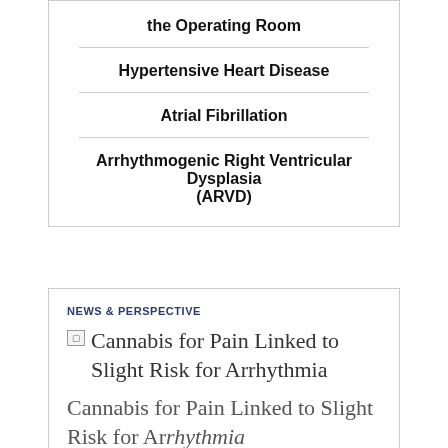the Operating Room
Hypertensive Heart Disease
Atrial Fibrillation
Arrhythmogenic Right Ventricular Dysplasia (ARVD)
NEWS & PERSPECTIVE
[Figure (other): Broken image placeholder for Cannabis for Pain Linked to Slight Risk for Arrhythmia article]
Cannabis for Pain Linked to Slight Risk for Arrhythmia
Cannabis for Pain Linked to Slight Risk for Arrhythmia